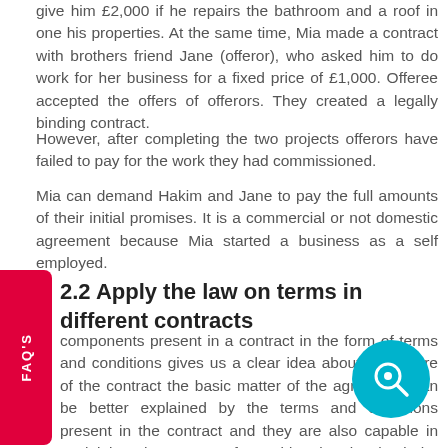give him £2,000 if he repairs the bathroom and a roof in one his properties. At the same time, Mia made a contract with brothers friend Jane (offeror), who asked him to do work for her business for a fixed price of £1,000. Offeree accepted the offers of offerors. They created a legally binding contract.
However, after completing the two projects offerors have failed to pay for the work they had commissioned.
Mia can demand Hakim and Jane to pay the full amounts of their initial promises. It is a commercial or not domestic agreement because Mia started a business as a self employed.
2.2 Apply the law on terms in different contracts
components present in a contract in the form of terms and conditions gives us a clear idea about the nature of the contract the basic matter of the agreement can be better explained by the terms and conditions present in the contract and they are also capable in explaining the nature of consideration involved the provisions of a given contract can be presented by two different types of terms , they are as: